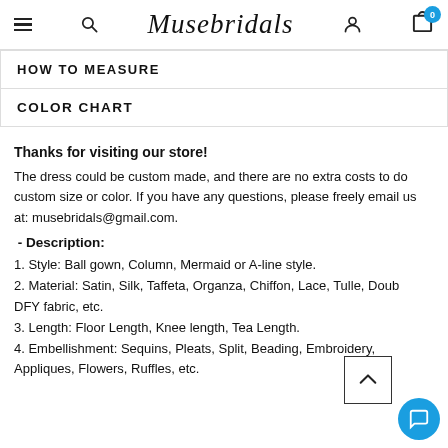Musebridals — navigation with menu, search, logo, user, cart (0)
HOW TO MEASURE
COLOR CHART
Thanks for visiting our store!
The dress could be custom made, and there are no extra costs to do custom size or color. If you have any questions, please freely email us at: musebridals@gmail.com.
- Description:
1. Style: Ball gown, Column, Mermaid or A-line style.
2. Material: Satin, Silk, Taffeta, Organza, Chiffon, Lace, Tulle, Doub DFY fabric, etc.
3. Length: Floor Length, Knee length, Tea Length.
4. Embellishment: Sequins, Pleats, Split, Beading, Embroidery, Appliques, Flowers, Ruffles, etc.